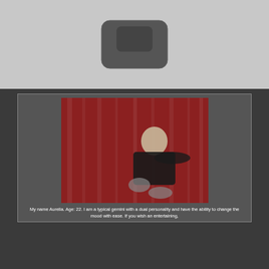[Figure (screenshot): Top section showing a grey background with a dark rounded rectangle device/UI element in the upper center]
[Figure (photo): Profile card on dark background showing a woman in a black dress posing against a red curtain background, with a WhatsApp logo overlay in the upper left of the photo]
My name Aurelia. Age: 22. I am a typical gemini with a dual personality and have the ability to change the mood with ease. If you wish an entertaining,